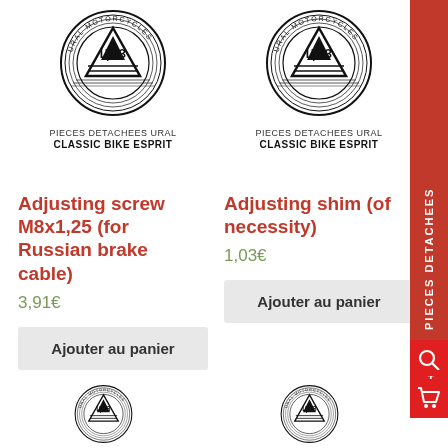[Figure (logo): Ural Motorcycles circular logo with mountain/triangle design, left product]
PIECES DETACHEES URAL
CLASSIC BIKE ESPRIT
[Figure (logo): Ural Motorcycles circular logo with mountain/triangle design, right product]
PIECES DETACHEES URAL
CLASSIC BIKE ESPRIT
Adjusting screw M8x1,25 (for Russian brake cable)
3,91€
Ajouter au panier
Adjusting shim (of necessity)
1,03€
Ajouter au panier
PIECES DETACHEES
[Figure (logo): Partial Ural Motorcycles logo bottom left]
[Figure (logo): Partial Ural Motorcycles logo bottom right]